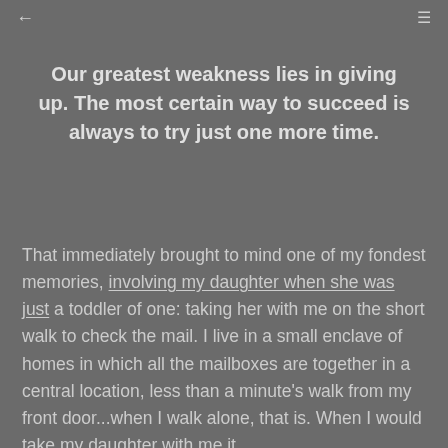← ≡
Our greatest weakness lies in giving up. The most certain way to succeed is always to try just one more time.
That immediately brought to mind one of my fondest memories, involving my daughter when she was just a toddler of one: taking her with me on the short walk to check the mail. I live in a small enclave of homes in which all the mailboxes are together in a central location, less than a minute's walk from my front door...when I walk alone, that is. When I would take my daughter with me it